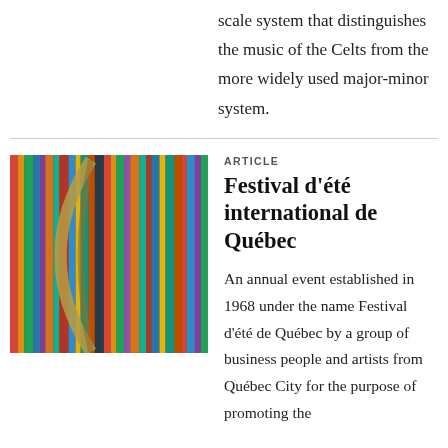scale system that distinguishes the music of the Celts from the more widely used major-minor system.
[Figure (photo): Close-up photo of colorful books/records on a shelf with a curved harp or musical instrument in the foreground]
ARTICLE
Festival d'été international de Québec
An annual event established in 1968 under the name Festival d'été de Québec by a group of business people and artists from Québec City for the purpose of promoting the